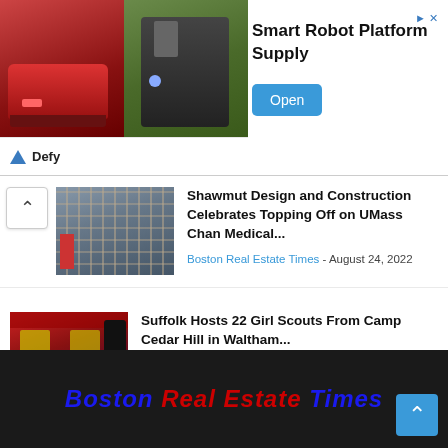[Figure (screenshot): Advertisement banner for Smart Robot Platform Supply by Defy, showing two robots (red tracked robot and black wheeled robot) with an Open button]
Smart Robot Platform Supply
[Figure (photo): Construction site showing scaffolding on a building under construction]
Shawmut Design and Construction Celebrates Topping Off on UMass Chan Medical...
Boston Real Estate Times - August 24, 2022
[Figure (photo): Girl scouts wearing yellow vests using VR headsets at Suffolk construction company event]
Suffolk Hosts 22 Girl Scouts From Camp Cedar Hill in Waltham...
Boston Real Estate Times - August 24, 2022
Boston Real Estate Times